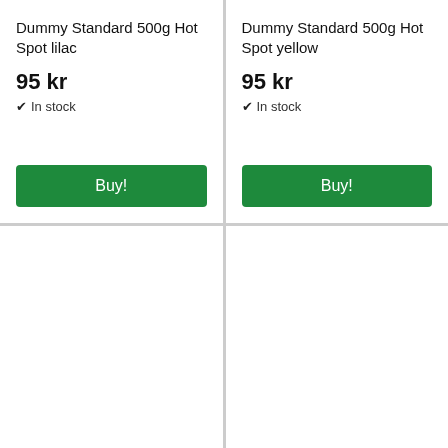Dummy Standard 500g Hot Spot lilac
95 kr
✔ In stock
Buy!
Dummy Standard 500g Hot Spot yellow
95 kr
✔ In stock
Buy!